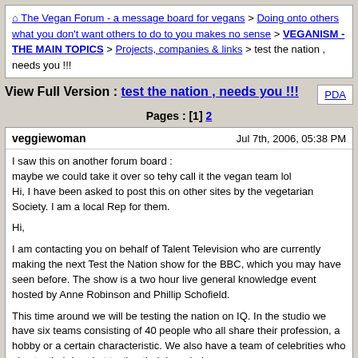The Vegan Forum - a message board for vegans > Doing onto others what you don't want others to do to you makes no sense > VEGANISM - THE MAIN TOPICS > Projects, companies & links > test the nation , needs you !!!
View Full Version : test the nation , needs you !!!
Pages : [1] 2
veggiewoman
Jul 7th, 2006, 05:38 PM

I saw this on another forum board :
maybe we could take it over so tehy call it the vegan team lol
Hi, I have been asked to post this on other sites by the vegetarian Society. I am a local Rep for them.

Hi,

I am contacting you on behalf of Talent Television who are currently making the next Test the Nation show for the BBC, which you may have seen before. The show is a two hour live general knowledge event hosted by Anne Robinson and Phillip Schofield.


This time around we will be testing the nation on IQ. In the studio we have six teams consisting of 40 people who all share their profession, a hobby or a certain characteristic. We also have a team of celebrities who also try their hand at testing their knowledge.


For this show we are putting together a team of 40 VEGETARIANS. Would it be possible to pass this information on to members of the Vegetarian Society to see if they would like to take part? Perhaps you may have some members in mind that are quite well known (although anyone can apply). As it is an IQ test, it would be great to include people that have a very high IQ, so that we could